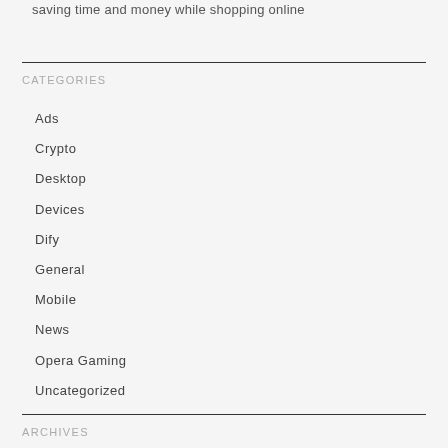saving time and money while shopping online
CATEGORIES
Ads
Crypto
Desktop
Devices
Dify
General
Mobile
News
Opera Gaming
Uncategorized
ARCHIVES